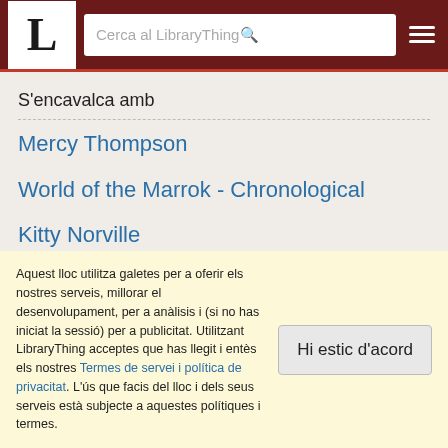L | Cerca al LibraryThing
S'encavalca amb
Mercy Thompson
World of the Marrok - Chronological
Kitty Norville
Nightside
Dan Shamble, Zombie PI
Aquest lloc utilitza galetes per a oferir els nostres serveis, millorar el desenvolupament, per a anàlisis i (si no has iniciat la sessió) per a publicitat. Utilitzant LibraryThing acceptes que has llegit i entès els nostres Termes de servei i política de privacitat. L'ús que facis del lloc i dels seus serveis està subjecte a aquestes polítiques i termes.
Hi estic d'acord